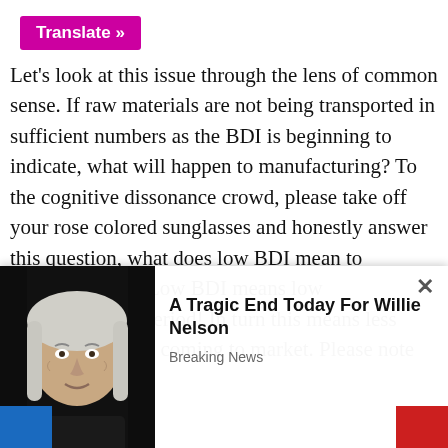[Figure (other): Translate button with magenta/pink background and white bold text 'Translate »']
Let's look at this issue through the lens of common sense. If raw materials are not being transported in sufficient numbers as the BDI is beginning to indicate, what will happen to manufacturing? To the cognitive dissonance crowd, please take off your rose colored sunglasses and honestly answer this question, what does low BDI mean to manufacturing? Low BDI means low manufacturing, period! In turn this means less finished products coming to market. Please note that the BDI includes grains in its analysis. With fewer grains being shipped to market to be packaged and distributed to consumers, that this will lead to severe [obscured by overlay]g, this is [obscured by overlay]
[Figure (photo): Ad overlay popup with a close X button, photo of an elderly man (Willie Nelson), and text 'A Tragic End Today For Willie Nelson' with subtitle 'Breaking News']